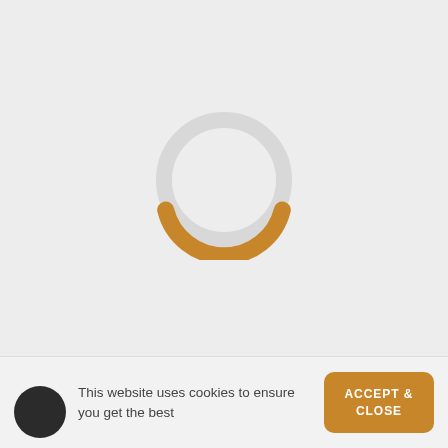[Figure (other): A circular loading spinner with a light gray ring and a golden/amber arc at the bottom, centered on a light gray background.]
This website uses cookies to ensure you get the best